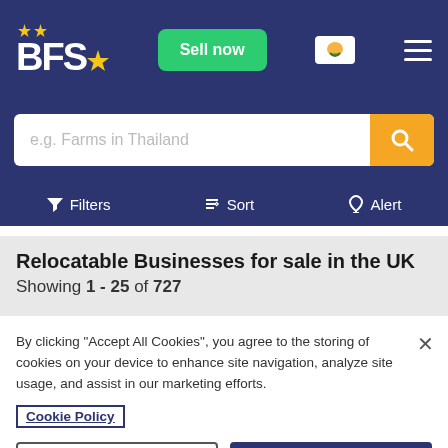[Figure (screenshot): BFS logo with stars and navigation bar with Sell now button, Cyprus flag, and hamburger menu]
e.g. Farms in Thailand
Filters   Sort   Alert
Relocatable Businesses for sale in the UK
Showing 1 - 25 of 727
By clicking "Accept All Cookies", you agree to the storing of cookies on your device to enhance site navigation, analyze site usage, and assist in our marketing efforts.
Cookie Policy
Cookies Settings
Accept All Cookies